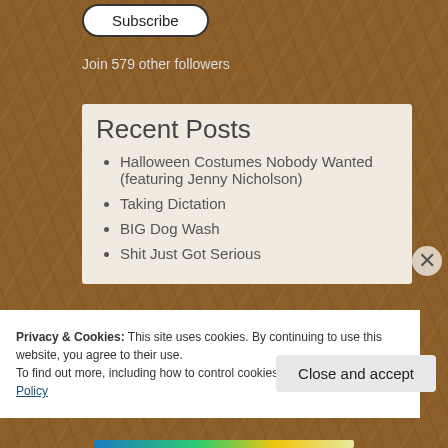Subscribe
Join 579 other followers
Recent Posts
Halloween Costumes Nobody Wanted (featuring Jenny Nicholson)
Taking Dictation
BIG Dog Wash
Shit Just Got Serious
Privacy & Cookies: This site uses cookies. By continuing to use this website, you agree to their use.
To find out more, including how to control cookies, see here: Cookie Policy
Close and accept